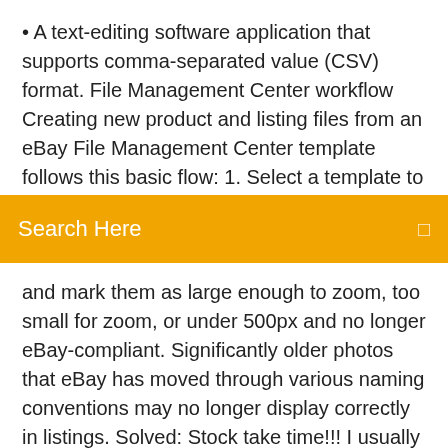• A text-editing software application that supports comma-separated value (CSV) format. File Management Center workflow Creating new product and listing files from an eBay File Management Center template follows this basic flow: 1. Select a template to download from the eBay File Management
Search Here
and mark them as large enough to zoom, too small for zoom, or under 500px and no longer eBay-compliant. Significantly older photos that eBay has moved through various naming conventions may no longer display correctly in listings. Solved: Stock take time!!! I usually just go into my inventory and hit the print button and print in off. 30 pages later I have my invetory on paper. File Exchange CSV Format (Standard) Multiple descriptions (Original or Revised) in each CSV file will be formatted for File Exchange and will be zipped into one or more downloads. Change the CSV character encoding to match your